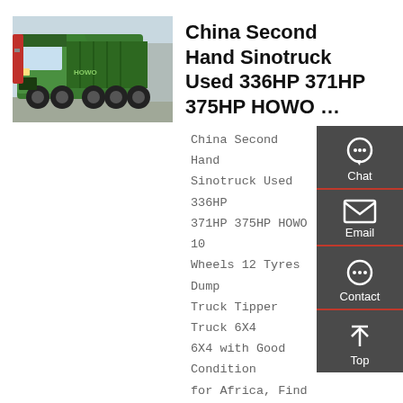[Figure (photo): Green Sinotruck HOWO dump truck / tipper truck, multi-axle, parked outdoors]
China Second Hand Sinotruck Used 336HP 371HP 375HP HOWO …
China Second Hand Sinotruck Used 336HP 371HP 375HP HOWO 10 Wheels 12 Tyres Dump Truck Tipper Truck 6X4 6X4 with Good Condition for Africa, Find details about China Tipper Truck, China Dump Truck from Second Hand Sinotruk Used 336HP …